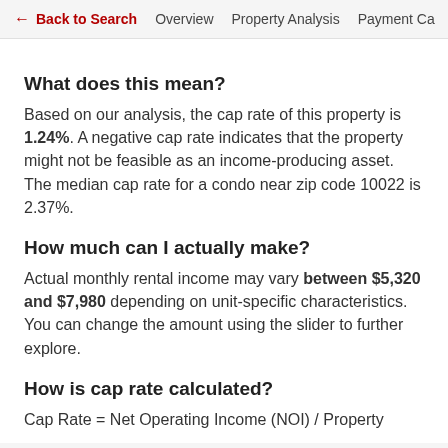← Back to Search   Overview   Property Analysis   Payment Ca
What does this mean?
Based on our analysis, the cap rate of this property is 1.24%. A negative cap rate indicates that the property might not be feasible as an income-producing asset. The median cap rate for a condo near zip code 10022 is 2.37%.
How much can I actually make?
Actual monthly rental income may vary between $5,320 and $7,980 depending on unit-specific characteristics. You can change the amount using the slider to further explore.
How is cap rate calculated?
Cap Rate = Net Operating Income (NOI) / Property